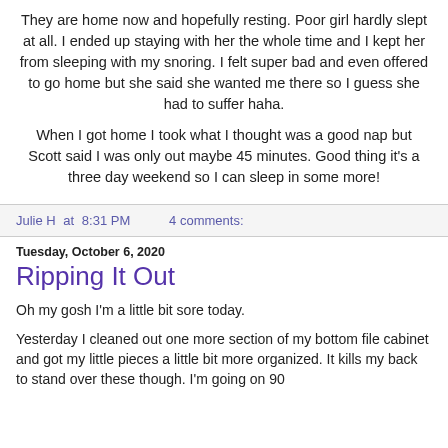They are home now and hopefully resting. Poor girl hardly slept at all. I ended up staying with her the whole time and I kept her from sleeping with my snoring. I felt super bad and even offered to go home but she said she wanted me there so I guess she had to suffer haha.
When I got home I took what I thought was a good nap but Scott said I was only out maybe 45 minutes. Good thing it's a three day weekend so I can sleep in some more!
Julie H at 8:31 PM    4 comments:
Tuesday, October 6, 2020
Ripping It Out
Oh my gosh I'm a little bit sore today.
Yesterday I cleaned out one more section of my bottom file cabinet and got my little pieces a little bit more organized. It kills my back to stand over these though. I'm going on 90